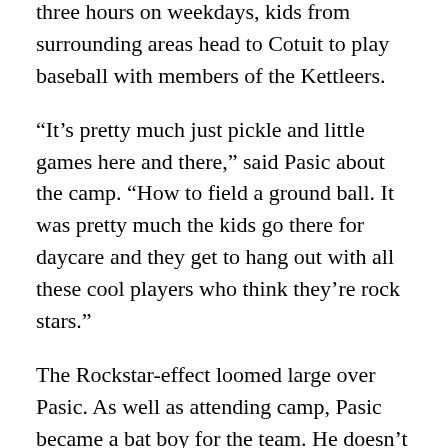three hours on weekdays, kids from surrounding areas head to Cotuit to play baseball with members of the Kettleers.
“It’s pretty much just pickle and little games here and there,” said Pasic about the camp. “How to field a ground ball. It was pretty much the kids go there for daycare and they get to hang out with all these cool players who think they’re rock stars.”
The Rockstar-effect loomed large over Pasic. As well as attending camp, Pasic became a bat boy for the team. He doesn’t remember much about being a bat boy, but he does remember one specific part of the job.
“I just remember I wanted to be one of them,” he said.